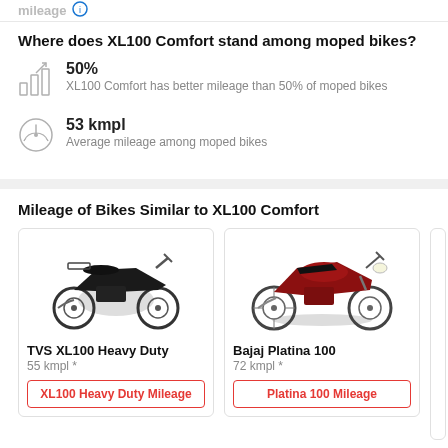Where does XL100 Comfort stand among moped bikes?
50%
XL100 Comfort has better mileage than 50% of moped bikes
53 kmpl
Average mileage among moped bikes
Mileage of Bikes Similar to XL100 Comfort
TVS XL100 Heavy Duty
55 kmpl *
XL100 Heavy Duty Mileage
Bajaj Platina 100
72 kmpl *
Platina 100 Mileage